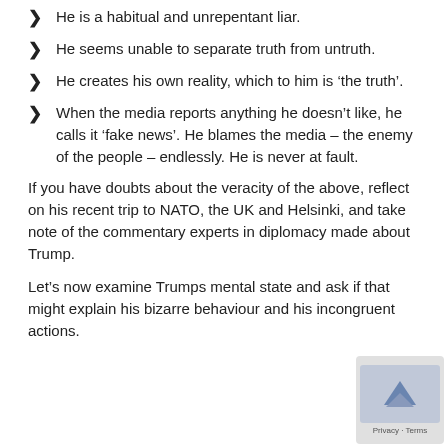He is a habitual and unrepentant liar.
He seems unable to separate truth from untruth.
He creates his own reality, which to him is 'the truth'.
When the media reports anything he doesn't like, he calls it 'fake news'. He blames the media – the enemy of the people – endlessly. He is never at fault.
If you have doubts about the veracity of the above, reflect on his recent trip to NATO, the UK and Helsinki, and take note of the commentary experts in diplomacy made about Trump.
Let's now examine Trumps mental state and ask if that might explain his bizarre behaviour and his incongruent actions.